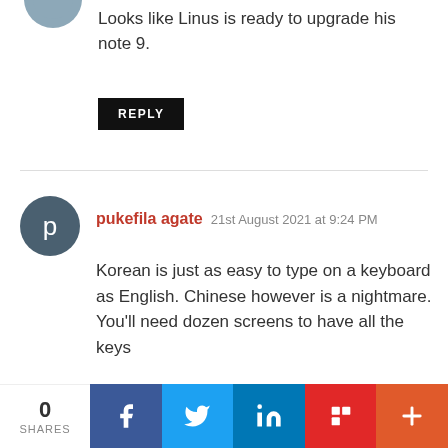[Figure (photo): Partial avatar image at top left, circular profile photo cropped]
Looks like Linus is ready to upgrade his note 9.
REPLY
[Figure (illustration): Circular avatar with letter p on dark teal/slate background]
pukefila agate  21st August 2021 at 9:24 PM
Korean is just as easy to type on a keyboard as English. Chinese however is a nightmare. You'll need dozen screens to have all the keys
REPLY
0
SHARES